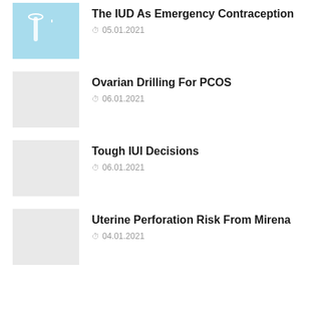[Figure (photo): Thumbnail image of IUD contraception on blue background]
The IUD As Emergency Contraception
05.01.2021
[Figure (photo): Gray placeholder thumbnail]
Ovarian Drilling For PCOS
06.01.2021
[Figure (photo): Gray placeholder thumbnail]
Tough IUI Decisions
06.01.2021
[Figure (photo): Gray placeholder thumbnail]
Uterine Perforation Risk From Mirena
04.01.2021
Categories